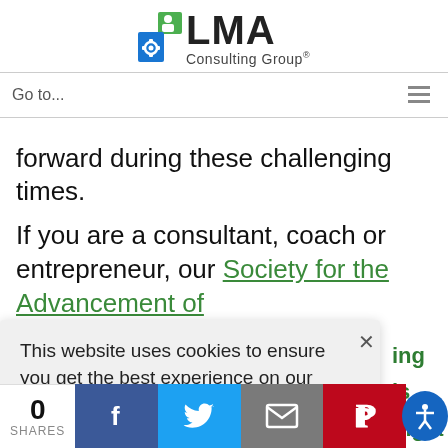[Figure (logo): LMA Consulting Group logo with gear/puzzle icon in green and blue, company name text]
Go to...
forward during these challenging times.
If you are a consultant, coach or entrepreneur, our Society for the Advancement of
ing
is
ing a
this
This website uses cookies to ensure you get the best experience on our website.
Dismiss
Accept
0
SHARES